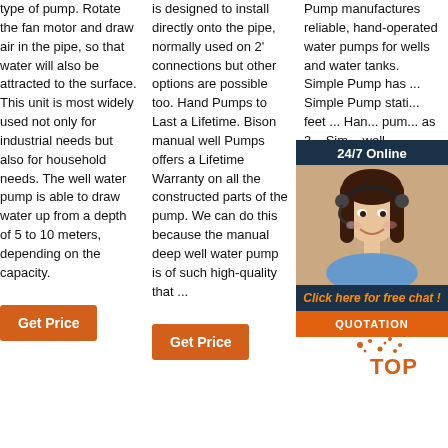type of pump. Rotate the fan motor and draw air in the pipe, so that water will also be attracted to the surface. This unit is most widely used not only for industrial needs but also for household needs. The well water pump is able to draw water up from a depth of 5 to 10 meters, depending on the capacity.
Get Price
is designed to install directly onto the pipe, normally used on 2' connections but other options are possible too. Hand Pumps to Last a Lifetime. Bison manual well Pumps offers a Lifetime Warranty on all the constructed parts of the pump. We can do this because the manual deep well water pump is of such high-quality that ...
Get Price
Pump manufactures reliable, hand-operated water pumps for wells and water tanks. Simple Pump has ... Simple Pump stationary models feet ... Simple Hand Pump ... pumping depths as 325 feet. ... Simple well ... highest-quality hand pumps on the market made from aerospace-grade, lead-free stainless steel.
[Figure (photo): Chat widget overlay showing a woman with a headset smiling, with '24/7 Online' header, 'Click here for free chat!' message, and a QUOTATION button in orange.]